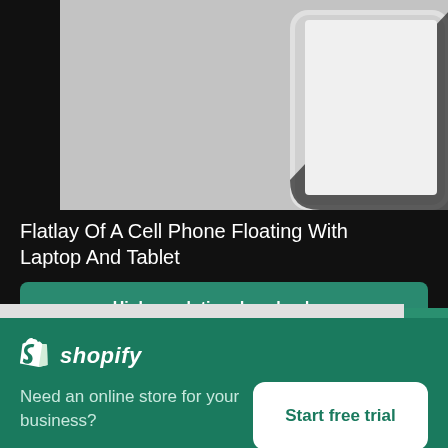[Figure (photo): Flatlay photo of a tablet device on a light grey surface, showing the corner of the tablet]
Flatlay Of A Cell Phone Floating With Laptop And Tablet
High resolution download ↓
[Figure (logo): Shopify logo - shopping bag icon with 'shopify' text in white italic]
Need an online store for your business?
Start free trial